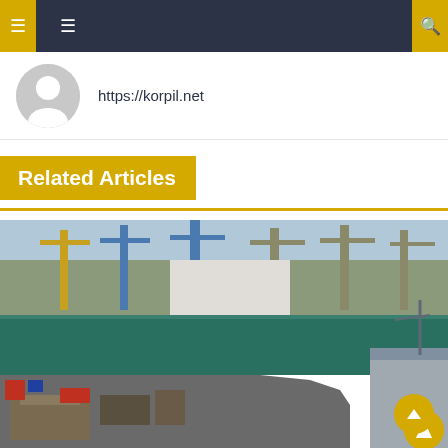Navigation bar with menu icons and https://korpil.net
https://korpil.net
Related Articles
[Figure (photo): Aerial view of a naval shipyard and port facility showing multiple large cranes, docked naval vessels including warships, green harbor water, and a ship deck in the foreground with cargo and equipment visible. Industrial port infrastructure with buildings and dockyard facilities in the background under clear blue sky.]